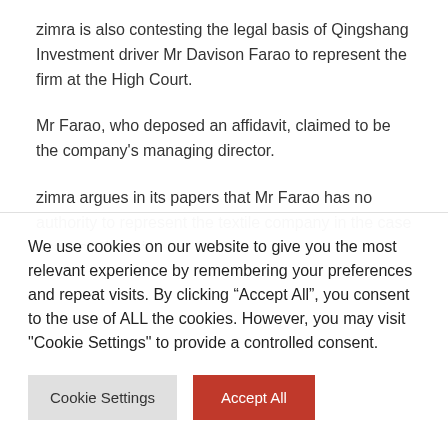zimra is also contesting the legal basis of Qingshang Investment driver Mr Davison Farao to represent the firm at the High Court.
Mr Farao, who deposed an affidavit, claimed to be the company's managing director.
zimra argues in its papers that Mr Farao has no authority to represent the textile company in the case because there is
We use cookies on our website to give you the most relevant experience by remembering your preferences and repeat visits. By clicking “Accept All”, you consent to the use of ALL the cookies. However, you may visit "Cookie Settings" to provide a controlled consent.